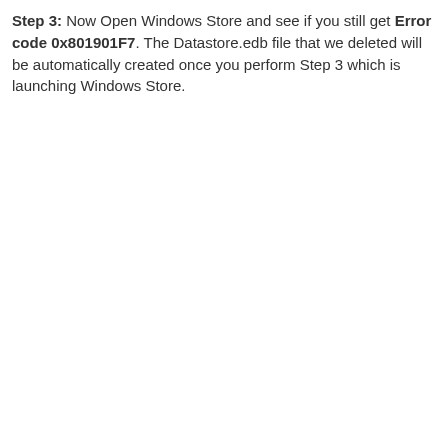Step 3: Now Open Windows Store and see if you still get Error code 0x801901F7. The Datastore.edb file that we deleted will be automatically created once you perform Step 3 which is launching Windows Store.